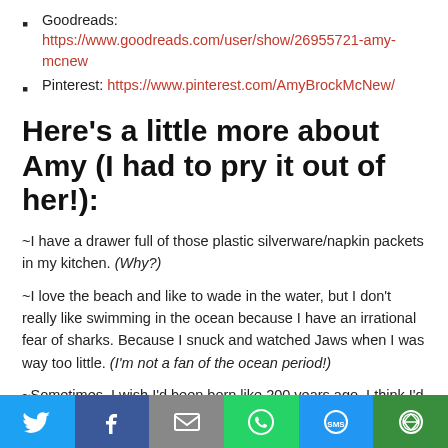Goodreads: https://www.goodreads.com/user/show/26955721-amy-mcnew
Pinterest: https://www.pinterest.com/AmyBrockMcNew/
Here's a little more about Amy (I had to pry it out of her!):
~I have a drawer full of those plastic silverware/napkin packets in my kitchen. (Why?)
~I love the beach and like to wade in the water, but I don't really like swimming in the ocean because I have an irrational fear of sharks. Because I snuck and watched Jaws when I was way too little. (I'm not a fan of the ocean period!)
~Sometimes, I wish I'd been born like 200 years ago. I think I'd make a good Annie Oakley type!
~I had a huge crush on Jonathan Frakes (Will Ryker) in high school!
~I can't whistle to save my life! (Could you whistle to save MY life?)